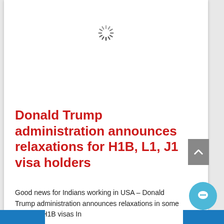[Figure (other): Loading spinner icon centered near top of page]
Donald Trump administration announces relaxations for H1B, L1, J1 visa holders
Good news for Indians working in USA – Donald Trump administration announces relaxations in some rules for H1B visas In